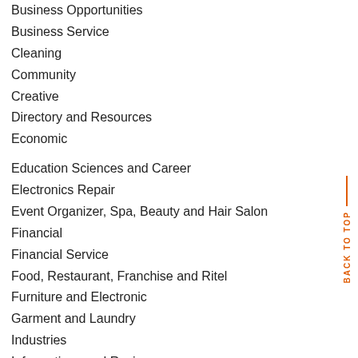Business Opportunities
Business Service
Cleaning
Community
Creative
Directory and Resources
Economic
Education Sciences and Career
Electronics Repair
Event Organizer, Spa, Beauty and Hair Salon
Financial
Financial Service
Food, Restaurant, Franchise and Ritel
Furniture and Electronic
Garment and Laundry
Industries
Informations and Reviews